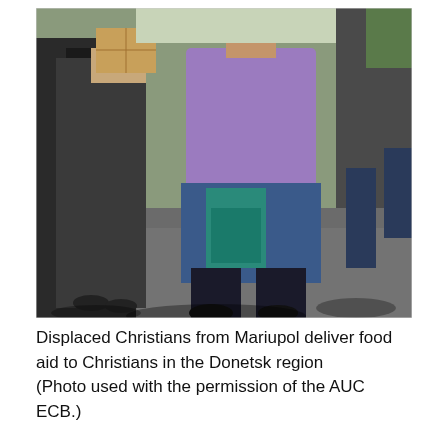[Figure (photo): People unloading cardboard boxes from a vehicle outdoors. One person wearing a purple shirt and blue skirt carries items, while another in dark clothing holds a box. Gravel ground and shadows visible. Aid delivery scene.]
Displaced Christians from Mariupol deliver food aid to Christians in the Donetsk region (Photo used with the permission of the AUC ECB.)